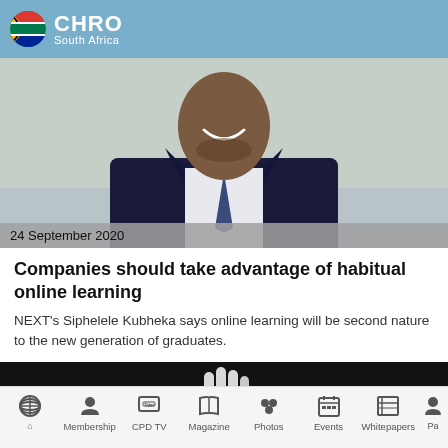CHRO South Africa
[Figure (photo): A smiling man in a dark suit and tie, photographed from the shoulders up, with a date badge overlay reading '24 September 2020']
24 September 2020
Companies should take advantage of habitual online learning
NEXT's Siphelele Kubheka says online learning will be second nature to the new generation of graduates.
[Figure (photo): A hand with fingers raised against a dark/black background]
Membership  CPD TV  Magazine  Photos  Events  Whitepapers  Pa